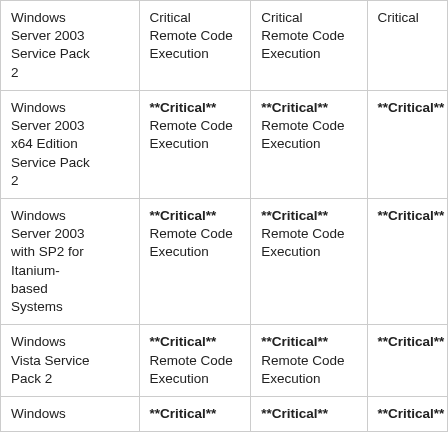| Windows Server 2003 Service Pack 2 | Critical
Remote Code Execution | Critical
Remote Code Execution | Critical |
| Windows Server 2003 x64 Edition Service Pack 2 | **Critical**
Remote Code Execution | **Critical**
Remote Code Execution | **Critical** |
| Windows Server 2003 with SP2 for Itanium-based Systems | **Critical**
Remote Code Execution | **Critical**
Remote Code Execution | **Critical** |
| Windows Vista Service Pack 2 | **Critical**
Remote Code Execution | **Critical**
Remote Code Execution | **Critical** |
| Windows | **Critical** | **Critical** | **Critical** |